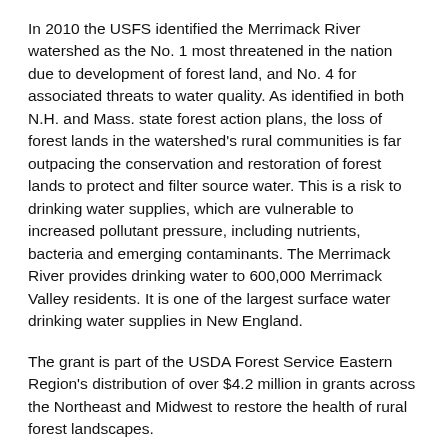In 2010 the USFS identified the Merrimack River watershed as the No. 1 most threatened in the nation due to development of forest land, and No. 4 for associated threats to water quality. As identified in both N.H. and Mass. state forest action plans, the loss of forest lands in the watershed's rural communities is far outpacing the conservation and restoration of forest lands to protect and filter source water. This is a risk to drinking water supplies, which are vulnerable to increased pollutant pressure, including nutrients, bacteria and emerging contaminants. The Merrimack River provides drinking water to 600,000 Merrimack Valley residents. It is one of the largest surface water drinking water supplies in New England.
The grant is part of the USDA Forest Service Eastern Region's distribution of over $4.2 million in grants across the Northeast and Midwest to restore the health of rural forest landscapes.
This year, 15 funded projects will collectively: